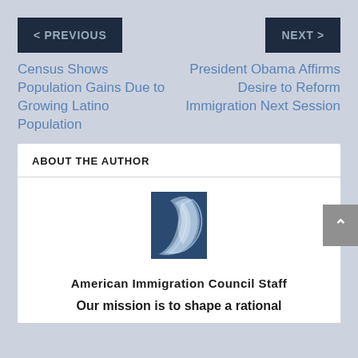< PREVIOUS
NEXT >
Census Shows Population Gains Due to Growing Latino Population
President Obama Affirms Desire to Reform Immigration Next Session
ABOUT THE AUTHOR
[Figure (logo): American Immigration Council logo — a crescent/C shape in blue tones on a dark blue rectangle background]
American Immigration Council Staff
Our mission is to shape a rational